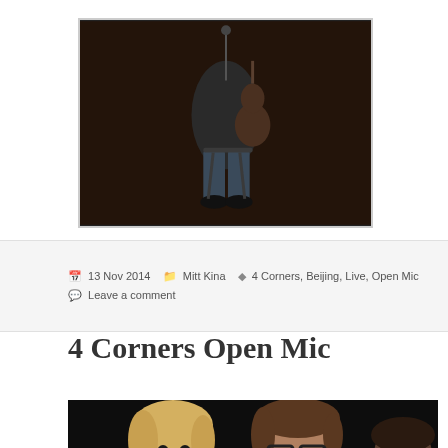[Figure (photo): A person seated on a stool playing guitar in a dimly lit venue, dark background, wearing jeans]
13 Nov 2014  Mitt Kina  4 Corners, Beijing, Live, Open Mic  Leave a comment
4 Corners Open Mic
[Figure (photo): Two young people smiling at camera in a dark venue, one with blonde hair and one with brown hair wearing glasses]